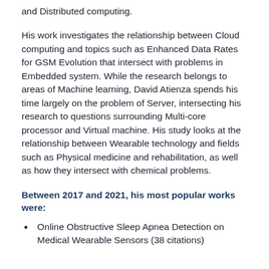and Distributed computing.
His work investigates the relationship between Cloud computing and topics such as Enhanced Data Rates for GSM Evolution that intersect with problems in Embedded system. While the research belongs to areas of Machine learning, David Atienza spends his time largely on the problem of Server, intersecting his research to questions surrounding Multi-core processor and Virtual machine. His study looks at the relationship between Wearable technology and fields such as Physical medicine and rehabilitation, as well as how they intersect with chemical problems.
Between 2017 and 2021, his most popular works were:
Online Obstructive Sleep Apnea Detection on Medical Wearable Sensors (38 citations)